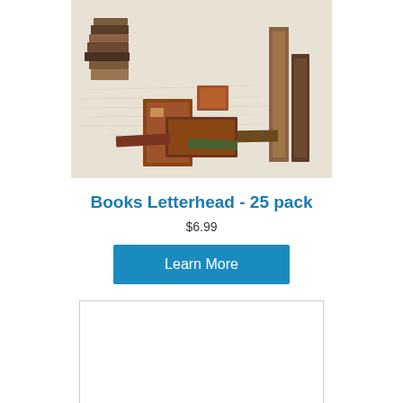[Figure (photo): Stacked antique books arranged decoratively on a surface with handwritten script background. Books are various sizes in brown, red, and dark tones.]
Books Letterhead - 25 pack
$6.99
Learn More
[Figure (other): White empty rectangle with light grey border]